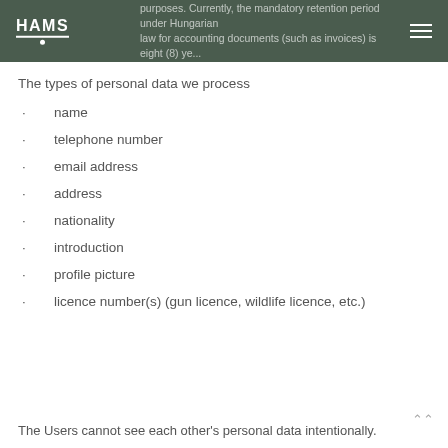HAMS
purposes. Currently, the mandatory retention period under Hungarian law for accounting documents (such as invoices) is eight (8) ye...
The types of personal data we process
name
telephone number
email address
address
nationality
introduction
profile picture
licence number(s) (gun licence, wildlife licence, etc.)
The Users cannot see each other's personal data intentionally.